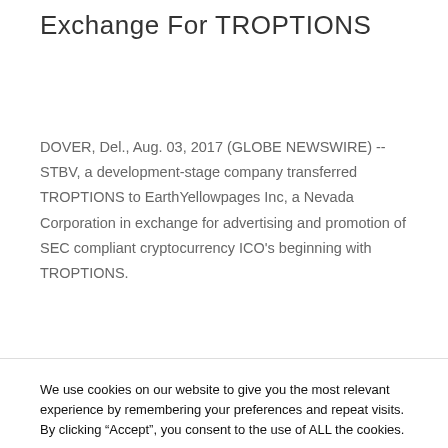Exchange For TROPTIONS
DOVER, Del., Aug. 03, 2017 (GLOBE NEWSWIRE) -- STBV, a development-stage company transferred TROPTIONS to EarthYellowpages Inc, a Nevada Corporation in exchange for advertising and promotion of SEC compliant cryptocurrency ICO’s beginning with TROPTIONS.
We use cookies on our website to give you the most relevant experience by remembering your preferences and repeat visits. By clicking “Accept”, you consent to the use of ALL the cookies.
Do not sell my personal information.